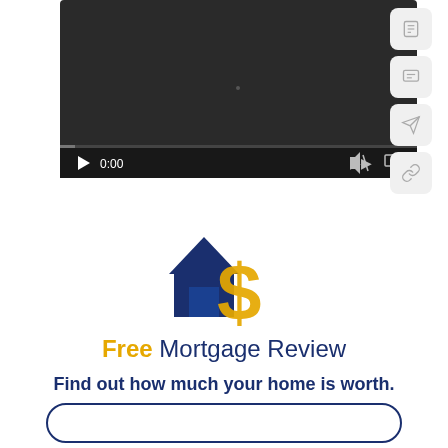[Figure (screenshot): Video player screenshot showing a dark background video with playback controls (play button, 0:00 timestamp, volume, fullscreen) and a progress bar at the bottom. Side buttons for bookmarking, comments, sharing, and linking are visible on the right.]
[Figure (logo): Free Mortgage Review logo with a house icon in dark blue overlapping with a dollar sign in gold/yellow.]
Free Mortgage Review
Find out how much your home is worth.